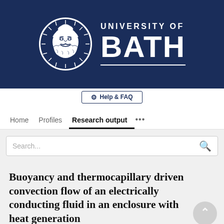[Figure (logo): University of Bath logo with circular seal featuring a face/sun motif and text 'UNIVERSITY OF BATH' on dark blue background]
[Figure (screenshot): Help & FAQ button in navigation bar]
Home   Profiles   Research output   ...
Search...
Buoyancy and thermocapillary driven convection flow of an electrically conducting fluid in an enclosure with heat generation